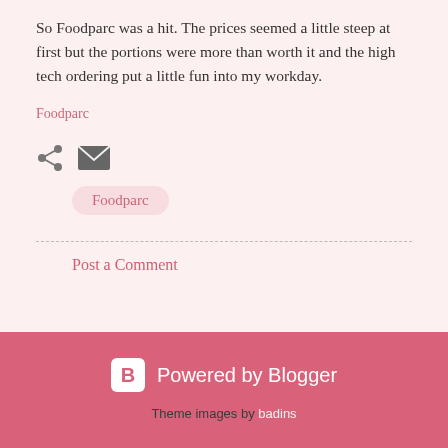So Foodparc was a hit. The prices seemed a little steep at first but the portions were more than worth it and the high tech ordering put a little fun into my workday.
Foodparc
[Figure (infographic): Share icon (three connected circles) and email icon (envelope)]
Foodparc
Post a Comment
Powered by Blogger
Theme images by badins